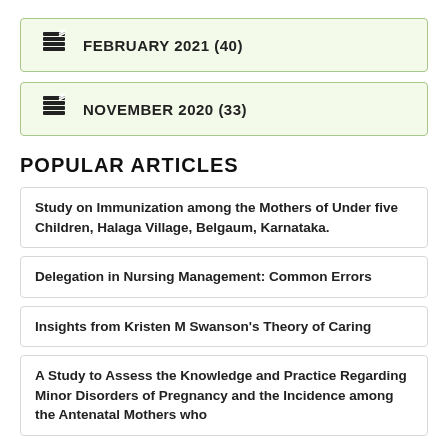FEBRUARY 2021 (40)
NOVEMBER 2020 (33)
POPULAR ARTICLES
Study on Immunization among the Mothers of Under five Children, Halaga Village, Belgaum, Karnataka.
Delegation in Nursing Management: Common Errors
Insights from Kristen M Swanson's Theory of Caring
A Study to Assess the Knowledge and Practice Regarding Minor Disorders of Pregnancy and the Incidence among the Antenatal Mothers who